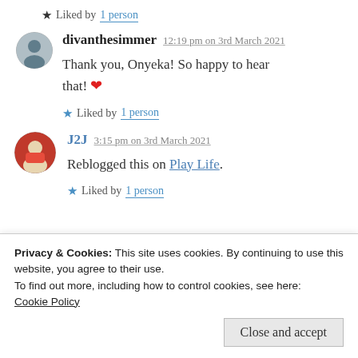★ Liked by 1 person
divanthesimmer 12:19 pm on 3rd March 2021
Thank you, Onyeka! So happy to hear that! ❤
★ Liked by 1 person
J2J 3:15 pm on 3rd March 2021
Reblogged this on Play Life.
★ Liked by 1 person
Privacy & Cookies: This site uses cookies. By continuing to use this website, you agree to their use.
To find out more, including how to control cookies, see here: Cookie Policy
Close and accept